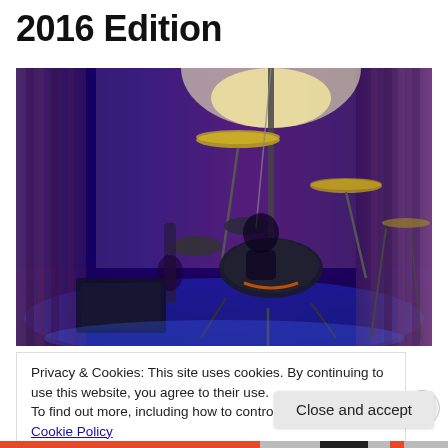2016 Edition
[Figure (photo): A drum kit on a darkened stage illuminated by blue and purple lighting, with cymbals, drum hardware, and draped curtains visible in the background. A guitar leans against an amplifier on the left side.]
Privacy & Cookies: This site uses cookies. By continuing to use this website, you agree to their use.
To find out more, including how to control cookies, see here: Cookie Policy